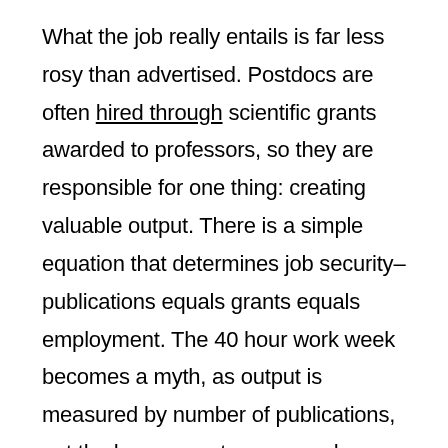What the job really entails is far less rosy than advertised. Postdocs are often hired through scientific grants awarded to professors, so they are responsible for one thing: creating valuable output. There is a simple equation that determines job security–publications equals grants equals employment. The 40 hour work week becomes a myth, as output is measured by number of publications, not the hours spent on research. Salary is neither measured by time nor skill. The average annual salary hovers around US $40,000, with minimal employee benefits. Because most postdocs are in their 30s or 40s, it's a salary that goes towards supporting a family. In contrast, full time researchers hired to do